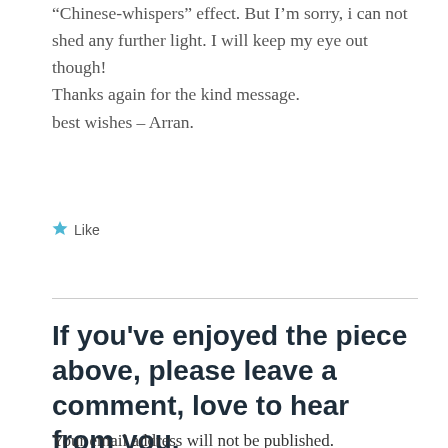“Chinese-whispers” effect. But I’m sorry, i can not shed any further light. I will keep my eye out though!
Thanks again for the kind message.
best wishes – Arran.
Like
If you've enjoyed the piece above, please leave a comment, love to hear from you.
Your email address will not be published.